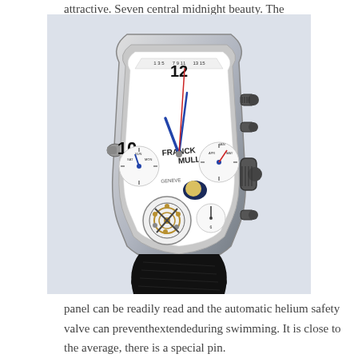attractive. Seven central midnight beauty. The
[Figure (photo): A luxury Franck Muller tourbillon chronograph watch with a white dial showing multiple complications, blue hands, tourbillon visible at the bottom, on a black leather strap, photographed at an angle.]
panel can be readily read and the automatic helium safety valve can preventhextendeduring swimming. It is close to the average, there is a special pin.